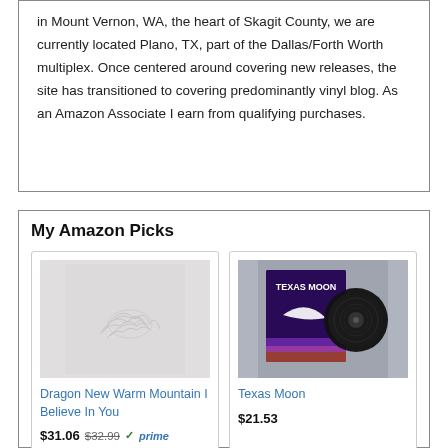in Mount Vernon, WA, the heart of Skagit County, we are currently located Plano, TX, part of the Dallas/Forth Worth multiplex. Once centered around covering new releases, the site has transitioned to covering predominantly vinyl blog. As an Amazon Associate I earn from qualifying purchases.
My Amazon Picks
[Figure (photo): Album art for Dragon New Warm Mountain I Believe In You - light grey background with faint pencil sketch illustration]
Dragon New Warm Mountain I Believe In You
$31.06  $32.99  ✓prime
[Figure (photo): Album art for Texas Moon vinyl record - purple/dark background with Texas Moon text and a vinyl record leaning against the album cover, on grey background]
Texas Moon
$21.53